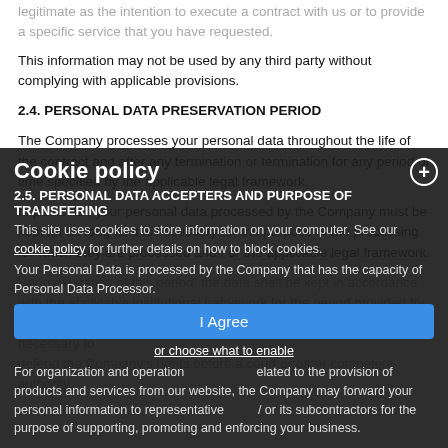legitimate as the intention to execute a contract with us or to provide a specific service that you have requested.
This information may not be used by any third party without complying with applicable provisions.
2.4. PERSONAL DATA PRESERVATION PERIOD
The Company processes your personal data throughout the life of the contract and after any termination or termination for any period of time specified by the applicable legal framework.
In particular, your personal data processed by the Company must be kept for as long as it is necessary for the purpose of the processing for which they are processed and / or the applicable legal framework.
Upon expiration of this period, the data shall be kept in accordance with the applicable institutional framework for the period provided for by the termination of the business relationship or for as long as is necessary to defend the Company’s rights before a court or other competent authority.
2.5. PERSONAL DATA ACCEPTERS AND PURPOSE OF TRANSFERING
Your Personal Data is processed by the Company that has the capacity of Personal Data Processor.
For organization and operational purposes related to the provision of products and services from our website, the Company may forward your personal information to representatives and / or its subcontractors for the purpose of supporting, promoting and enforcing your business.
Cookie policy
This site uses cookies to store information on your computer. See our cookie policy for further details on how to block cookies.
I Agree
or choose what to enable